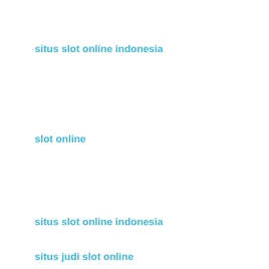situs slot online indonesia
slot online
situs slot online indonesia
situs judi slot online